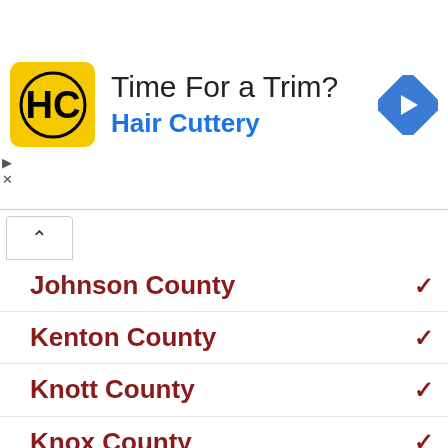[Figure (advertisement): Hair Cuttery advertisement banner with logo, headline 'Time For a Trim?', and navigation icon]
Johnson County
Kenton County
Knott County
Knox County
Larue County
Laurel County
Lawrence County
Lee County
Leslie County
Letcher County